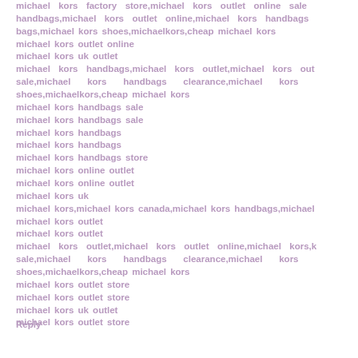michael kors factory store,michael kors outlet online sale handbags,michael kors outlet online,michael kors handbags bags,michael kors shoes,michaelkors,cheap michael kors
michael kors outlet online
michael kors uk outlet
michael kors handbags,michael kors outlet,michael kors out sale,michael kors handbags clearance,michael kors shoes,michaelkors,cheap michael kors
michael kors handbags sale
michael kors handbags sale
michael kors handbags
michael kors handbags
michael kors handbags store
michael kors online outlet
michael kors online outlet
michael kors uk
michael kors,michael kors canada,michael kors handbags,michael
michael kors outlet
michael kors outlet
michael kors outlet,michael kors outlet online,michael kors,k sale,michael kors handbags clearance,michael kors shoes,michaelkors,cheap michael kors
michael kors outlet store
michael kors outlet store
michael kors uk outlet
michael kors outlet store
Reply